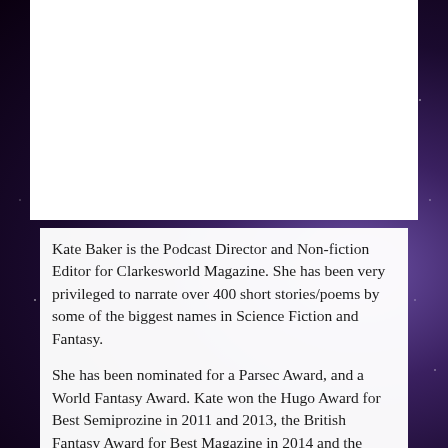[Figure (illustration): Dark space/nebula background with purple and blue tones visible on left and right sides of the page. A white rectangular area occupies the upper portion of the page.]
Kate Baker is the Podcast Director and Non-fiction Editor for Clarkesworld Magazine. She has been very privileged to narrate over 400 short stories/poems by some of the biggest names in Science Fiction and Fantasy.
She has been nominated for a Parsec Award, and a World Fantasy Award. Kate won the Hugo Award for Best Semiprozine in 2011 and 2013, the British Fantasy Award for Best Magazine in 2014 and the World Fantasy Award for Special Award: Non